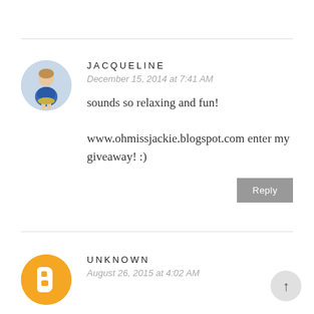[Figure (photo): Circular avatar photo of Jacqueline, a person in a blue dress]
JACQUELINE
December 15, 2014 at 7:41 AM
sounds so relaxing and fun!

www.ohmissjackie.blogspot.com enter my giveaway! :)
Reply
[Figure (logo): Circular orange Blogger icon avatar for Unknown user]
UNKNOWN
August 26, 2015 at 4:02 AM